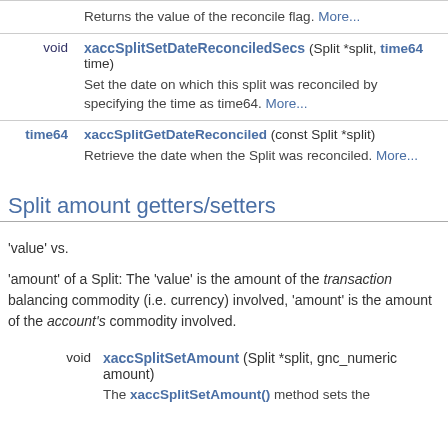| return type | function signature | description |
| --- | --- | --- |
|  | Returns the value of the reconcile flag. More... |  |
| void | xaccSplitSetDateReconciledSecs (Split *split, time64 time) | Set the date on which this split was reconciled by specifying the time as time64. More... |
| time64 | xaccSplitGetDateReconciled (const Split *split) | Retrieve the date when the Split was reconciled. More... |
Split amount getters/setters
'value' vs.
'amount' of a Split: The 'value' is the amount of the transaction balancing commodity (i.e. currency) involved, 'amount' is the amount of the account's commodity involved.
| return type | function signature | description |
| --- | --- | --- |
| void | xaccSplitSetAmount (Split *split, gnc_numeric amount) | The xaccSplitSetAmount() method sets the |